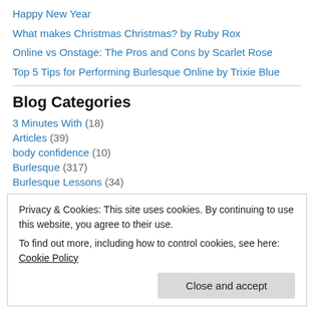Happy New Year
What makes Christmas Christmas? by Ruby Rox
Online vs Onstage: The Pros and Cons by Scarlet Rose
Top 5 Tips for Performing Burlesque Online by Trixie Blue
Blog Categories
3 Minutes With (18)
Articles (39)
body confidence (10)
Burlesque (317)
Burlesque Lessons (34)
Privacy & Cookies: This site uses cookies. By continuing to use this website, you agree to their use. To find out more, including how to control cookies, see here: Cookie Policy
Hen Parties (7)